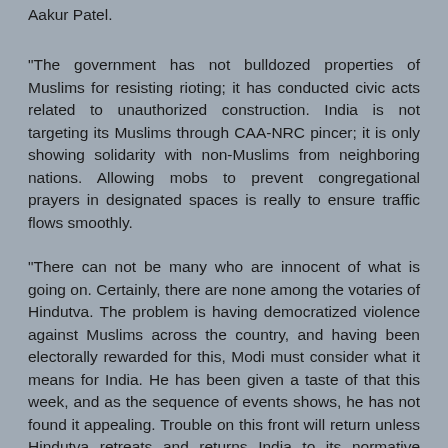Aakur Patel.
"The government has not bulldozed properties of Muslims for resisting rioting; it has conducted civic acts related to unauthorized construction. India is not targeting its Muslims through CAA-NRC pincer; it is only showing solidarity with non-Muslims from neighboring nations. Allowing mobs to prevent congregational prayers in designated spaces is really to ensure traffic flows smoothly.
"There can not be many who are innocent of what is going on. Certainly, there are none among the votaries of Hindutva. The problem is having democratized violence against Muslims across the country, and having been electorally rewarded for this, Modi must consider what it means for India. He has been given a taste of that this week, and as the sequence of events shows, he has not found it appealing. Trouble on this front will return unless Hindutva retreats and returns India to its normative secular state its Constitution prescribes. This is not going to happen under Modi, of course. The next best thing is to backpedal Hindutva a bit and calibrate Hindutva to a level